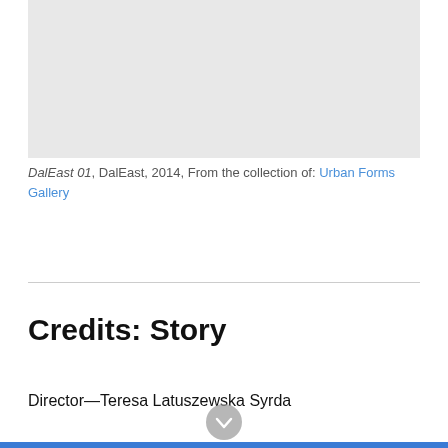[Figure (photo): Gray placeholder image area representing an artwork]
DalEast 01, DalEast, 2014, From the collection of: Urban Forms Gallery
Credits: Story
Director—Teresa Latuszewska Syrda